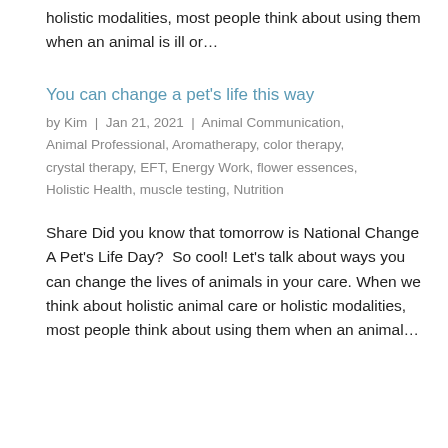holistic modalities, most people think about using them when an animal is ill or…
You can change a pet's life this way
by Kim | Jan 21, 2021 | Animal Communication, Animal Professional, Aromatherapy, color therapy, crystal therapy, EFT, Energy Work, flower essences, Holistic Health, muscle testing, Nutrition
Share Did you know that tomorrow is National Change A Pet's Life Day?  So cool! Let's talk about ways you can change the lives of animals in your care. When we think about holistic animal care or holistic modalities, most people think about using them when an animal…